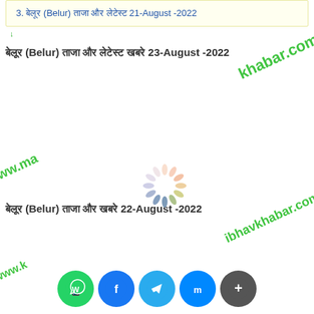3. बेलूर (Belur) ताजा और लेटेस्ट 21-August -2022
बेलूर (Belur) ताजा और लेटेस्ट खबरे 23-August -2022
[Figure (other): Loading spinner animation]
बेलूर (Belur) ताजा और खबरे 22-August -2022
[Figure (other): Social media sharing buttons: WhatsApp, Facebook, Telegram, Messenger, Plus]